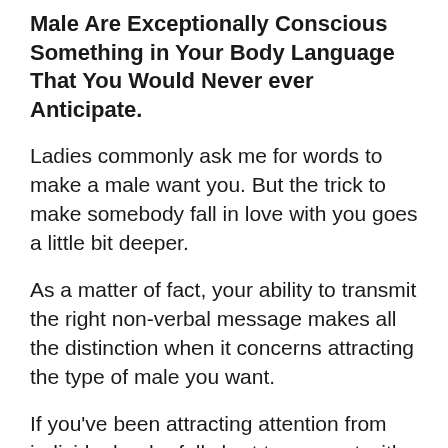Male Are Exceptionally Conscious Something in Your Body Language That You Would Never ever Anticipate.
Ladies commonly ask me for words to make a male want you. But the trick to make somebody fall in love with you goes a little bit deeper.
As a matter of fact, your ability to transmit the right non-verbal message makes all the distinction when it concerns attracting the type of male you want.
If you've been attracting attention from individuals who fall short to connect with you